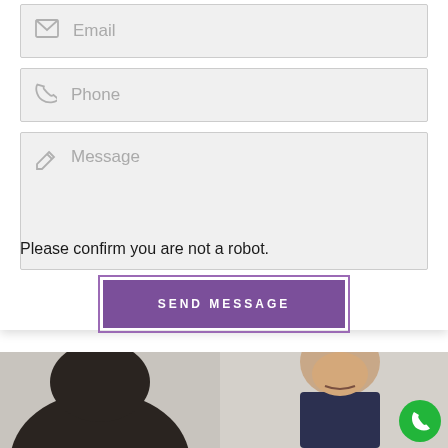[Figure (screenshot): Email input field with envelope icon and placeholder text 'Email']
[Figure (screenshot): Phone input field with phone icon and placeholder text 'Phone']
[Figure (screenshot): Message textarea with pencil icon and placeholder text 'Message']
Please confirm you are not a robot.
[Figure (screenshot): Purple 'SEND MESSAGE' button with outer border]
[Figure (photo): Two people in a professional meeting setting — a woman with dark hair seen from behind and a bald man in a dark shirt smiling. A green phone call button is visible in the lower right corner.]